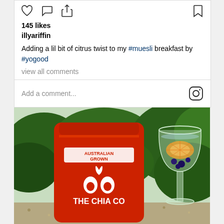[Figure (screenshot): Instagram post action bar with heart, comment, share icons on left and bookmark icon on right]
145 likes
illyariffin
Adding a lil bit of citrus twist to my #muesli breakfast by #yogood
view all comments
Add a comment...
[Figure (photo): Photo of a red 'The Chia Co' Australian Grown chia seed bag next to a wine glass with citrus fruit and berries, with green foliage in background]